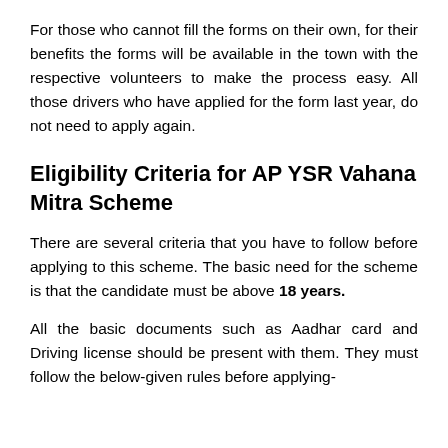For those who cannot fill the forms on their own, for their benefits the forms will be available in the town with the respective volunteers to make the process easy. All those drivers who have applied for the form last year, do not need to apply again.
Eligibility Criteria for AP YSR Vahana Mitra Scheme
There are several criteria that you have to follow before applying to this scheme. The basic need for the scheme is that the candidate must be above 18 years.
All the basic documents such as Aadhar card and Driving license should be present with them. They must follow the below-given rules before applying-